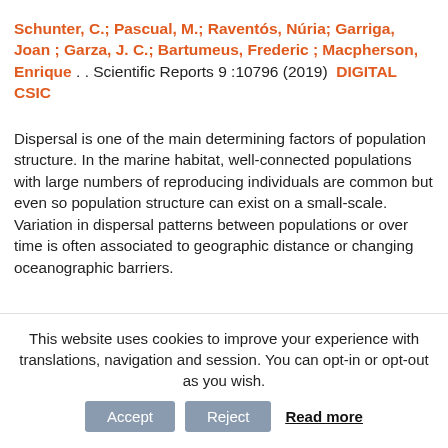Schunter, C.; Pascual, M.; Raventós, Núria; Garriga, Joan ; Garza, J. C.; Bartumeus, Frederic ; Macpherson, Enrique . . Scientific Reports 9 :10796 (2019)  DIGITAL CSIC
Dispersal is one of the main determining factors of population structure. In the marine habitat, well-connected populations with large numbers of reproducing individuals are common but even so population structure can exist on a small-scale. Variation in dispersal patterns between populations or over time is often associated to geographic distance or changing oceanographic barriers.
This website uses cookies to improve your experience with translations, navigation and session. You can opt-in or opt-out as you wish.  Accept  Reject  Read more